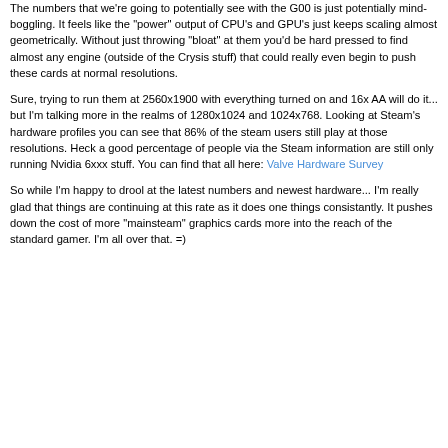The numbers that we're going to potentially see with the G00 is just potentially mind-boggling. It feels like the "power" output of CPU's and GPU's just keeps scaling almost geometrically. Without just throwing "bloat" at them you'd be hard pressed to find almost any engine (outside of the Crysis stuff) that could really even begin to push these cards at normal resolutions.
Sure, trying to run them at 2560x1900 with everything turned on and 16x AA will do it... but I'm talking more in the realms of 1280x1024 and 1024x768. Looking at Steam's hardware profiles you can see that 86% of the steam users still play at those resolutions. Heck a good percentage of people via the Steam information are still only running Nvidia 6xxx stuff. You can find that all here: Valve Hardware Survey
So while I'm happy to drool at the latest numbers and newest hardware... I'm really glad that things are continuing at this rate as it does one things consistantly. It pushes down the cost of more "mainsteam" graphics cards more into the reach of the standard gamer. I'm all over that. =)